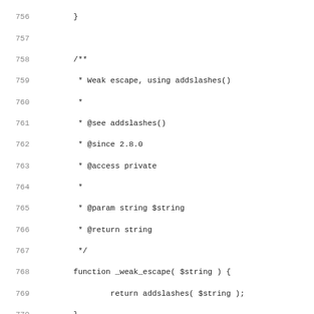Source code listing, lines 756-787, PHP methods _weak_escape and _real_escape